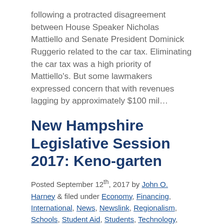following a protracted disagreement between House Speaker Nicholas Mattiello and Senate President Dominick Ruggerio related to the car tax. Eliminating the car tax was a high priority of Mattiello's. But some lawmakers expressed concern that with revenues lagging by approximately $100 mil…
New Hampshire Legislative Session 2017: Keno-garten
Posted September 12th, 2017 by John O. Harney & filed under Economy, Financing, International, News, Newslink, Regionalism, Schools, Student Aid, Students, Technology, Trends.
[Figure (photo): Landscape photo of a riverside town with a white church steeple, red brick buildings, and tree-covered hillsides under a partly cloudy sky. A lake or river is in the foreground.]